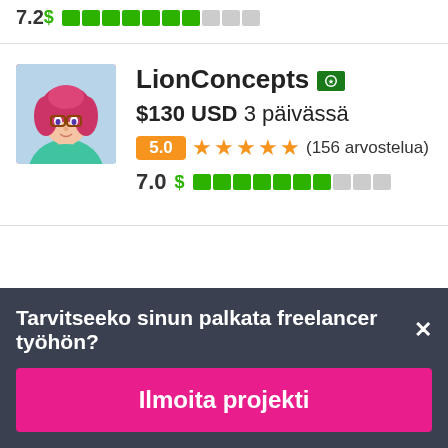7.2
[Figure (screenshot): LionConcepts freelancer profile card showing avatar, name, Pakistan flag, price $130 USD in 3 days, rating 5.0 with 5 stars and 156 reviews, score 7.0 with dollar bar indicator]
LionConcepts 🇵🇰
$130 USD 3 päivässä
5.0 ★★★★★ (156 arvostelua)
7.0
Tarvitseeko sinun palkata freelancer työhön?
Ilmoita projekti